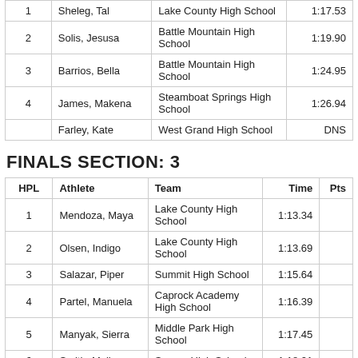| HPL | Athlete | Team | Time | Pts |
| --- | --- | --- | --- | --- |
| 1 | Sheleg, Tal | Lake County High School | 1:17.53 |  |
| 2 | Solis, Jesusa | Battle Mountain High School | 1:19.90 |  |
| 3 | Barrios, Bella | Battle Mountain High School | 1:24.95 |  |
| 4 | James, Makena | Steamboat Springs High School | 1:26.94 |  |
|  | Farley, Kate | West Grand High School | DNS |  |
FINALS SECTION: 3
| HPL | Athlete | Team | Time | Pts |
| --- | --- | --- | --- | --- |
| 1 | Mendoza, Maya | Lake County High School | 1:13.34 |  |
| 2 | Olsen, Indigo | Lake County High School | 1:13.69 |  |
| 3 | Salazar, Piper | Summit High School | 1:15.64 |  |
| 4 | Partel, Manuela | Caprock Academy High School | 1:16.39 |  |
| 5 | Manyak, Sierra | Middle Park High School | 1:17.45 |  |
| 6 | Smith, Molly | Soroco High School | 1:18.21 |  |
| 7 | Lipscomb, Liz | Steamboat Springs High School | 1:18.81 |  |
|  | McCary, | Caprock Academy High School | DNS |  |